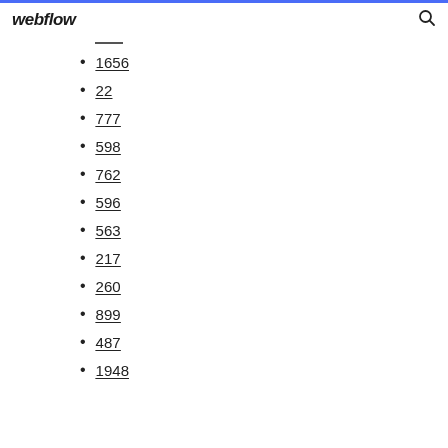webflow
1656
22
777
598
762
596
563
217
260
899
487
1948